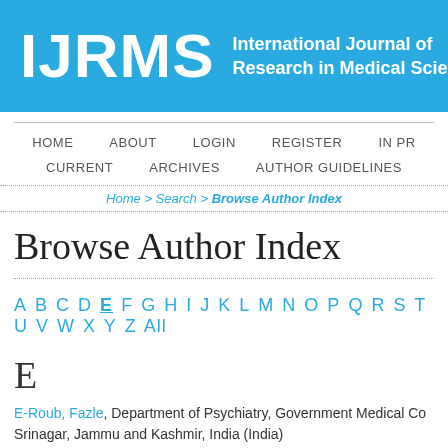IJRMS — International Journal of Research in Medical Sciences
HOME   ABOUT   LOGIN   REGISTER   IN PR   CURRENT   ARCHIVES   AUTHOR GUIDELINES
Home > Search > Browse Author Index
Browse Author Index
A B C D E F G H I J K L M N O P Q R S T U V W X Y Z All
E
E-Roub, Fazle, Department of Psychiatry, Government Medical College, Srinagar, Jammu and Kashmir, India (India)
E., Brown-Abang, Department of Paediatrics, University of Calabar